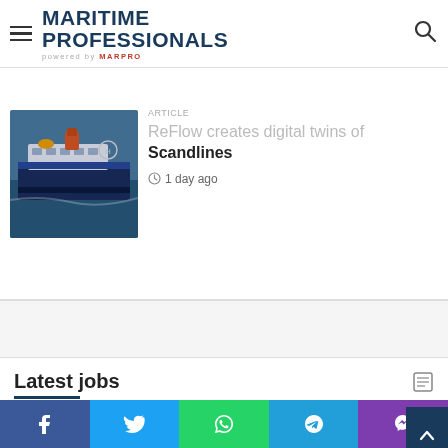MARITIME PROFESSIONALS powered by MARPRO
[Figure (photo): Aerial photo of a Scandlines ferry ship at sea]
ReFlow creates digital twins of Scandlines
1 day ago
Latest jobs
Team Manager Captains
@ Stromma